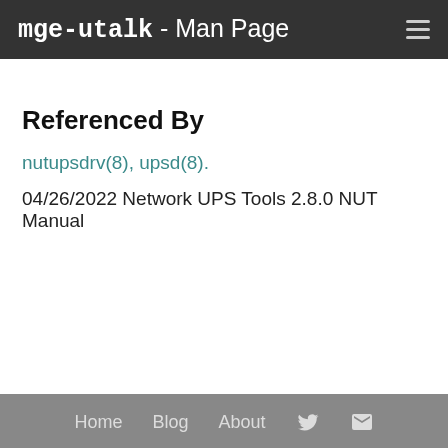mge-utalk - Man Page
Referenced By
nutupsdrv(8), upsd(8).
04/26/2022 Network UPS Tools 2.8.0 NUT Manual
Home  Blog  About